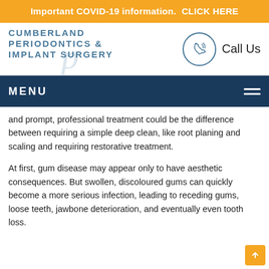Important COVID-19 information.  CLICK HERE
[Figure (logo): Cumberland Periodontics & Implant Surgery logo with stylized script letter]
Call Us
MENU
and prompt, professional treatment could be the difference between requiring a simple deep clean, like root planing and scaling and requiring restorative treatment.
At first, gum disease may appear only to have aesthetic consequences. But swollen, discoloured gums can quickly become a more serious infection, leading to receding gums, loose teeth, jawbone deterioration, and eventually even tooth loss.